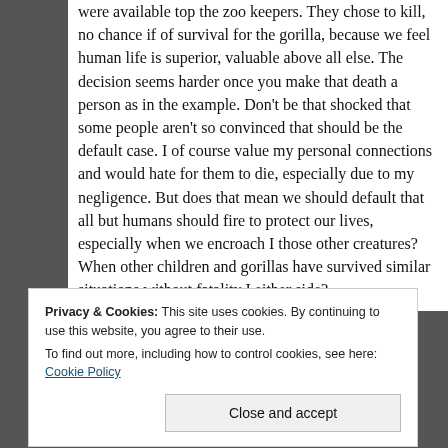were available top the zoo keepers. They chose to kill, no chance if of survival for the gorilla, because we feel human life is superior, valuable above all else. The decision seems harder once you make that death a person as in the example. Don't be that shocked that some people aren't so convinced that should be the default case. I of course value my personal connections and would hate for them to die, especially due to my negligence. But does that mean we should default that all but humans should fire to protect our lives, especially when we encroach I those other creatures? When other children and gorillas have survived similar situations without fatality I either side?
Privacy & Cookies: This site uses cookies. By continuing to use this website, you agree to their use.
To find out more, including how to control cookies, see here: Cookie Policy